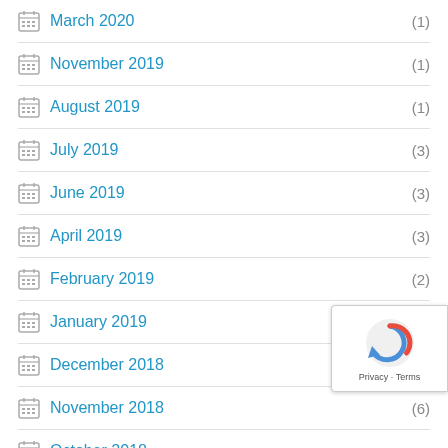March 2020 (1)
November 2019 (1)
August 2019 (1)
July 2019 (3)
June 2019 (3)
April 2019 (3)
February 2019 (2)
January 2019 (3)
December 2018 (11)
November 2018 (6)
October 2018 (8)
September 2018
August 2018 (46)